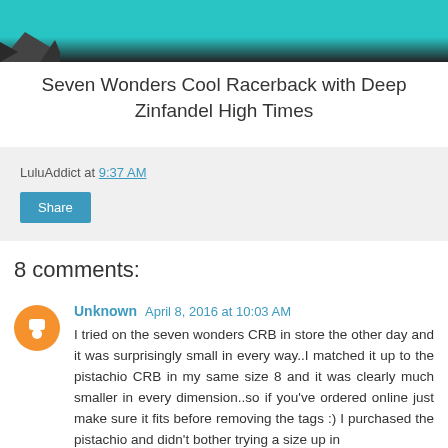[Figure (photo): Partial image showing teal/turquoise background with black rocky/stone element at bottom left corner]
Seven Wonders Cool Racerback with Deep Zinfandel High Times
LuluAddict at 9:37 AM
Share
8 comments:
Unknown April 8, 2016 at 10:03 AM
I tried on the seven wonders CRB in store the other day and it was surprisingly small in every way..I matched it up to the pistachio CRB in my same size 8 and it was clearly much smaller in every dimension..so if you've ordered online just make sure it fits before removing the tags :) I purchased the pistachio and didn't bother trying a size up in